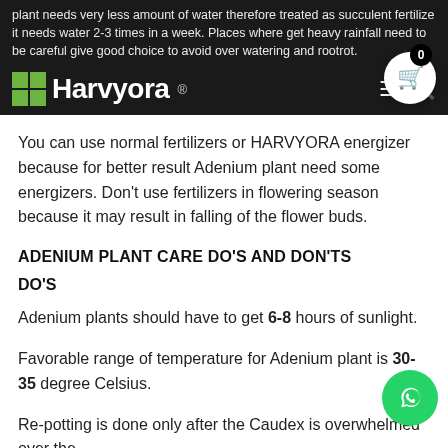plant needs very less amount of water therefore treated as succulent fertilize it needs water 2-3 times in a week. Places where get heavy rainfall need to be careful give good choice to avoid over watering and rootrot
You can use normal fertilizers or HARVYORA energizer because for better result Adenium plant need some energizers. Don't use fertilizers in flowering season because it may result in falling of the flower buds.
ADENIUM PLANT CARE DO'S AND DON'TS
DO'S
Adenium plants should have to get 6-8 hours of sunlight.
Favorable range of temperature for Adenium plant is 30-35 degree Celsius.
Re-potting is done only after the Caudex is overwhelmed over the